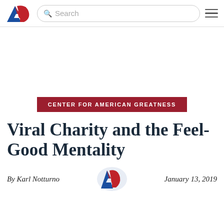AG [logo] Search [hamburger menu]
[Figure (other): Advertisement / blank space]
CENTER FOR AMERICAN GREATNESS
Viral Charity and the Feel-Good Mentality
By Karl Notturno   January 13, 2019